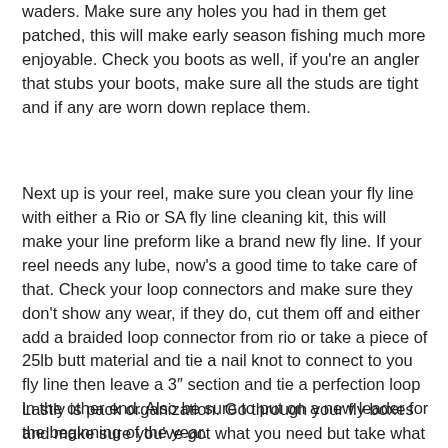waders. Make sure any holes you had in them get patched, this will make early season fishing much more enjoyable. Check you boots as well, if you're an angler that stubs your boots, make sure all the studs are tight and if any are worn down replace them.
Next up is your reel, make sure you clean your fly line with either a Rio or SA fly line cleaning kit, this will make your line preform like a brand new fly line. If your reel needs any lube, now's a good time to take care of that. Check your loop connectors and make sure they don't show any wear, if they do, cut them off and either add a braided loop connector from rio or take a piece of 25lb butt material and tie a nail knot to connect to you fly line then leave a 3″ section and tie a perfection loop in the other end. Also be sure to put on a new leader for the beginning of the year.
Lastly is pack organization. Go through your fly boxes and make sure you've got what you need but take what you don't need out. In Vermont, the first month of the season is going